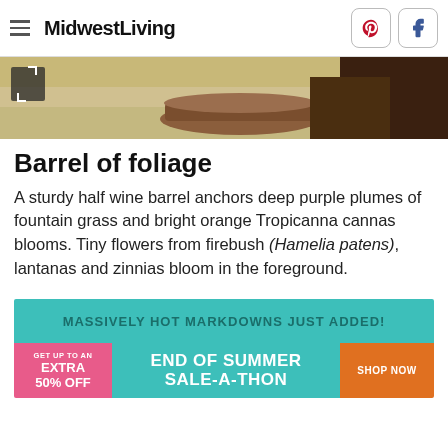MidwestLiving
[Figure (photo): Close-up photo of a half wine barrel planter with soil visible, set on a concrete or stone surface]
Barrel of foliage
A sturdy half wine barrel anchors deep purple plumes of fountain grass and bright orange Tropicanna cannas blooms. Tiny flowers from firebush (Hamelia patens), lantanas and zinnias bloom in the foreground.
[Figure (infographic): Advertisement banner: 'MASSIVELY HOT MARKDOWNS JUST ADDED!' with teal background. Below: pink/teal banner reading 'GET UP TO AN EXTRA 50% OFF END OF SUMMER SALE-A-THON SHOP NOW']